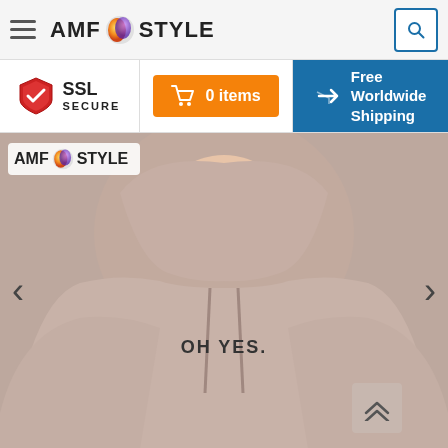AMF STYLE - navigation bar with hamburger menu and search button
SSL SECURE
0 items
Free Worldwide Shipping
[Figure (photo): A person wearing a light pink/beige hoodie with text 'OH YES.' printed on the front, hood up, face partially visible. AMF Style logo overlaid in top-left corner. Navigation arrows on left and right sides. Scroll-to-top chevron button in bottom-right area.]